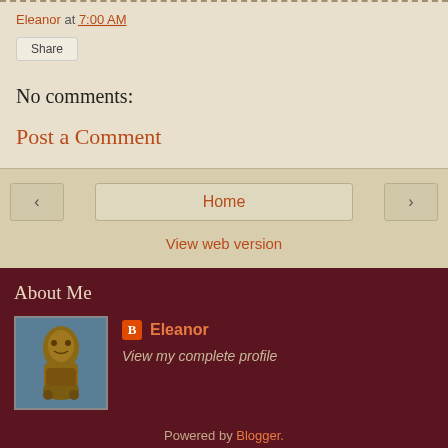Eleanor at 7:00 AM
Share
No comments:
Post a Comment
‹
Home
›
View web version
About Me
[Figure (photo): Profile photo showing a bronze sculpture of a figure]
Eleanor
View my complete profile
Powered by Blogger.